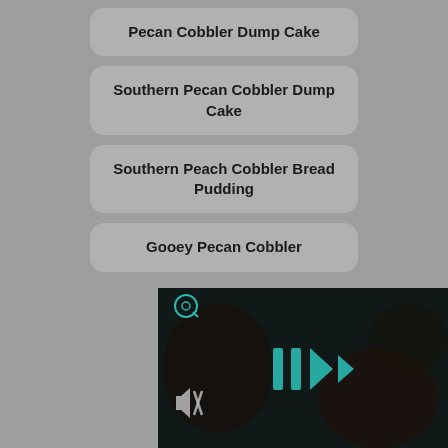Pecan Cobbler Dump Cake
Southern Pecan Cobbler Dump Cake
Southern Peach Cobbler Bread Pudding
Gooey Pecan Cobbler
[Figure (screenshot): Video player panel with dark overlay, teal circular Q icon top-left, teal play/forward controls in center, mute icon bottom-left, food imagery in background]